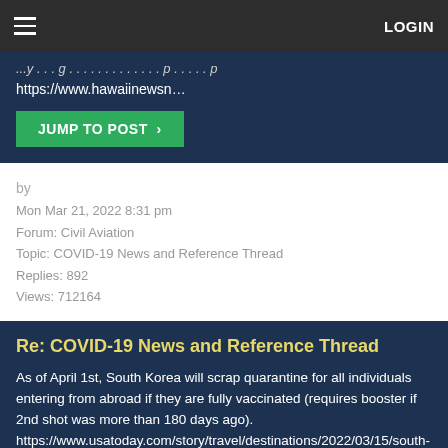LOGIN
https://www.hawaiinewsn...
JUMP TO POST >
by
Mon Mar 21, 2022 8:31 pm
Forum: Civil Aviation
Topic: COVID-19 News and Reference Thread
Replies: 892
Views: 712164
Re: COVID-19 News and Reference Thread
As of April 1st, South Korea will scrap quarantine for all individuals entering from abroad if they are fully vaccinated (requires booster if 2nd shot was more than 180 days ago).
https://www.usatoday.com/story/travel/destinations/2022/03/15/south-korea-travel-restrictions-quarantine-requirement/705...
JUMP TO POST >
by
Sun Mar 13, 2022 2:38 pm